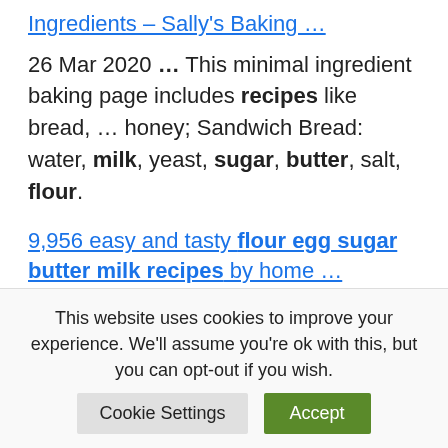Ingredients – Sally's Baking …
26 Mar 2020 … This minimal ingredient baking page includes recipes like bread, … honey; Sandwich Bread: water, milk, yeast, sugar, butter, salt, flour.
9,956 easy and tasty flour egg sugar butter milk recipes by home …
Flour egg sugar butter milk recipes (9956) · Butter Sugar
This website uses cookies to improve your experience. We'll assume you're ok with this, but you can opt-out if you wish.